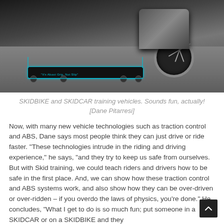[Figure (photo): A motorcycle mounted on a SKIDBIKE training platform with small wheels and teal-trimmed skid base, photographed on an asphalt surface. A text on the platform reads 'It's About Grip, Not Slip'.]
SKIDBIKE and SKIDCAR training vehicles. Sounds fun, actually! [Dane Pitarresi]
Now, with many new vehicle technologies such as traction control and ABS, Dane says most people think they can just drive or ride faster. “These technologies intrude in the riding and driving experience,” he says, “and they try to keep us safe from ourselves. But with Skid training, we could teach riders and drivers how to be safe in the first place. And, we can show how these traction control and ABS systems work, and also show how they can be over-driven or over-ridden – if you overdo the laws of physics, you’re done.” He concludes, “What I get to do is so much fun; put someone in a SKIDCAR or on a SKIDBIKE and they